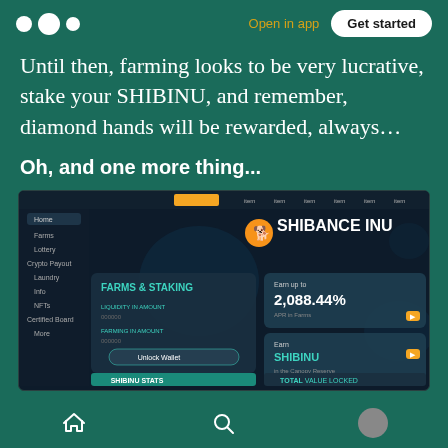Open in app  Get started
Until then, farming looks to be very lucrative, stake your SHIBINU, and remember, diamond hands will be rewarded, always…
Oh, and one more thing...
[Figure (screenshot): Screenshot of Shibance INU website showing Farms & Staking section with 2,088.44% APR and SHIBINU earning panel, SHIBINU STATS and TOTAL VALUE LOCKED sections at bottom]
Home  Search  Profile